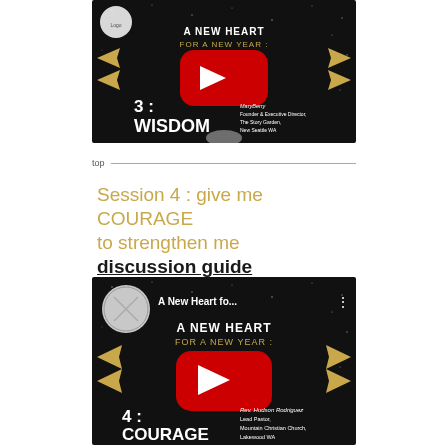[Figure (screenshot): YouTube video thumbnail showing 'A New Heart for a New Year: 3 - WISDOM' with gold arrows, YouTube play button, and text 'Mary Berry, Founder & Executive Director, The Story Garden, New Seattle WA']
top
Session 4 : give me COURAGE to strengthen me discussion guide
[Figure (screenshot): YouTube video thumbnail showing 'A New Heart for a New Year: 4 - COURAGE' with gold arrows, YouTube play button, and text 'Rev. Hudson Rodriguez, Lead Pastor, Mountain Christian Church, Lakewood WA']